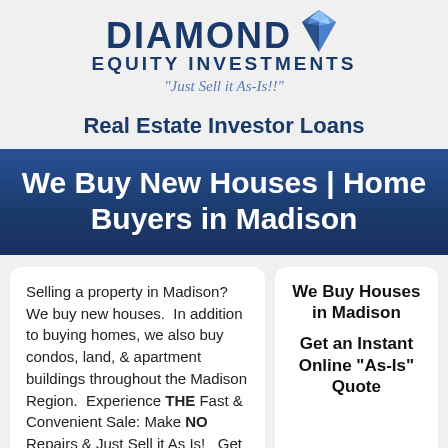[Figure (logo): Diamond Equity Investments logo with diamond SVG icon and tagline 'Just Sell it As-Is!!']
Real Estate Investor Loans
We Buy New Houses | Home Buyers in Madison
Selling a property in Madison? We buy new houses.  In addition to buying homes, we also buy condos, land, & apartment buildings throughout the Madison Region.  Experience THE Fast & Convenient Sale: Make NO Repairs & Just Sell it As Is!   Get an Instant Online Quote
We Buy Houses in Madison

Get an Instant Online "As-Is" Quote